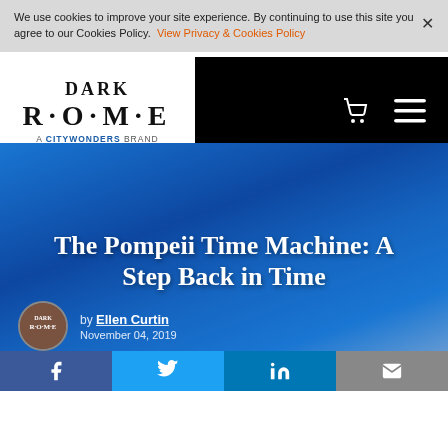We use cookies to improve your site experience. By continuing to use this site you agree to our Cookies Policy. View Privacy & Cookies Policy
[Figure (logo): Dark Rome - A CityWonders Brand logo, black text on white background]
The Pompeii Time Machine: A Step Back in Time
by Ellen Curtin
November 04, 2019